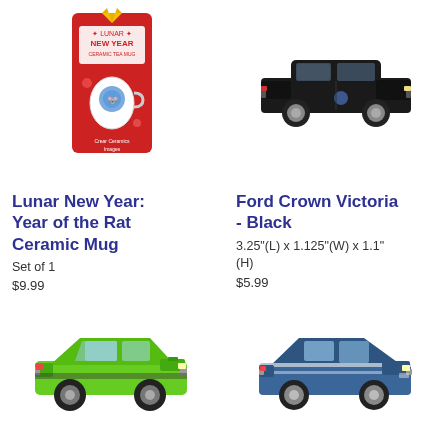[Figure (photo): Lunar New Year: Year of the Rat Ceramic Mug product photo — a white mug with a rat illustration in a red gift box packaging with yellow ribbon, text 'LUNAR NEW YEAR CERAMIC TEA MUG']
[Figure (photo): Ford Crown Victoria - Black die-cast model car photo — black sedan toy car viewed from side]
Lunar New Year: Year of the Rat Ceramic Mug
Set of 1
$9.99
Ford Crown Victoria - Black
3.25"(L) x 1.125"(W) x 1.1" (H)
$5.99
[Figure (photo): Lime green muscle car die-cast model — green classic American muscle car viewed from side/front angle]
[Figure (photo): Blue Ford Mustang Shelby GT die-cast model — blue classic Mustang fastback with white racing stripes viewed from side/front angle]